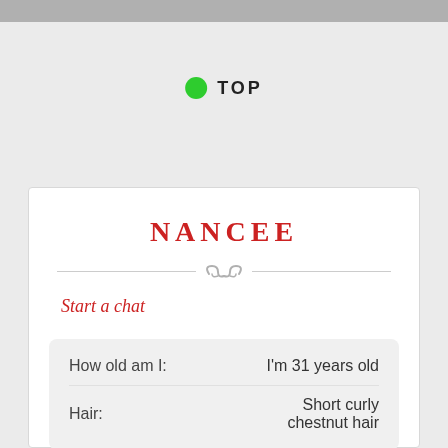TOP
NANCEE
Start a chat
| Label | Value |
| --- | --- |
| How old am I: | I'm 31 years old |
| Hair: | Short curly chestnut hair |